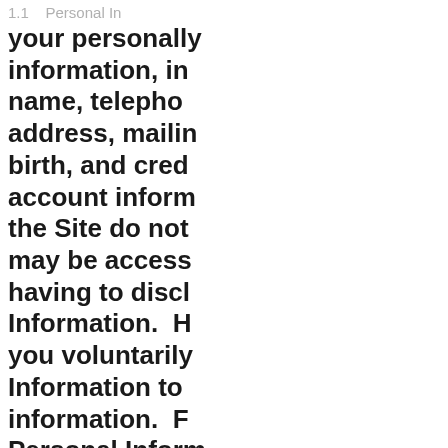1.1    Personal In
your personally information, in name, telephone address, mailing birth, and credit account information the Site do not may be accessible having to disclose Information. However, you voluntarily Information to information. For Personal Information you create an when you sign event offered "Promotion/Events" our electronic place an order the Site (in such provide your credit payment account ("Payment Account